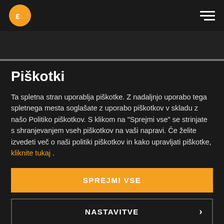EK logo and hamburger menu navigation header
Piškotki
Ta spletna stran uporablja piškotke. Z nadaljnjo uporabo tega spletnega mesta soglašate z uporabo piškotkov v skladu z našo Politiko piškotkov. S klikom na "Sprejmi vse" se strinjate s shranjevanjem vseh piškotkov na vaši napravi. Če želite izvedeti več o naši politiki piškotkov in kako upravljati piškotke, kliknite tukaj .
SPREJMI VSE
NASTAVITVE